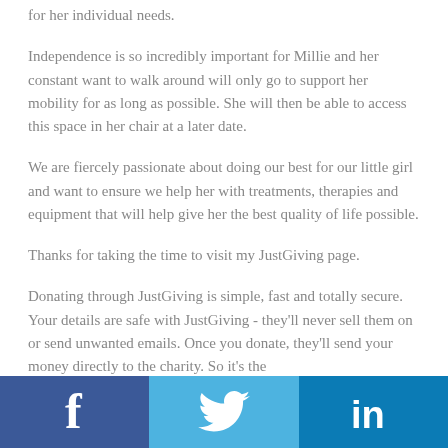for her individual needs.
Independence is so incredibly important for Millie and her constant want to walk around will only go to support her mobility for as long as possible. She will then be able to access this space in her chair at a later date.
We are fiercely passionate about doing our best for our little girl and want to ensure we help her with treatments, therapies and equipment that will help give her the best quality of life possible.
Thanks for taking the time to visit my JustGiving page.
Donating through JustGiving is simple, fast and totally secure. Your details are safe with JustGiving - they'll never sell them on or send unwanted emails. Once you donate, they'll send your money directly to the charity. So it's the
[Figure (infographic): Social media sharing footer bar with three sections: Facebook (dark blue, f icon), Twitter (light blue, bird icon), LinkedIn (medium blue, in icon)]